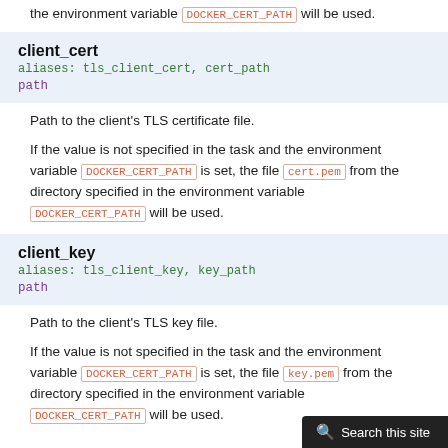the environment variable DOCKER_CERT_PATH will be used.
client_cert
aliases: tls_client_cert, cert_path
path
Path to the client's TLS certificate file.
If the value is not specified in the task and the environment variable DOCKER_CERT_PATH is set, the file cert.pem from the directory specified in the environment variable DOCKER_CERT_PATH will be used.
client_key
aliases: tls_client_key, key_path
path
Path to the client's TLS key file.
If the value is not specified in the task and the environment variable DOCKER_CERT_PATH is set, the file key.pem from the directory specified in the environment variable DOCKER_CERT_PATH will be used.